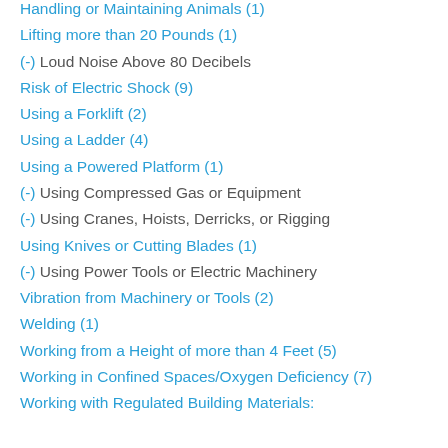Handling or Maintaining Animals (1)
Lifting more than 20 Pounds (1)
(-) Loud Noise Above 80 Decibels
Risk of Electric Shock (9)
Using a Forklift (2)
Using a Ladder (4)
Using a Powered Platform (1)
(-) Using Compressed Gas or Equipment
(-) Using Cranes, Hoists, Derricks, or Rigging
Using Knives or Cutting Blades (1)
(-) Using Power Tools or Electric Machinery
Vibration from Machinery or Tools (2)
Welding (1)
Working from a Height of more than 4 Feet (5)
Working in Confined Spaces/Oxygen Deficiency (7)
Working with Regulated Building Materials: